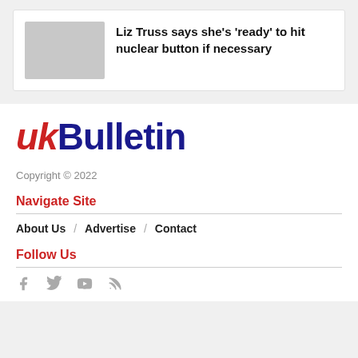[Figure (photo): Thumbnail placeholder image (grey rectangle) for article]
Liz Truss says she’s ‘ready’ to hit nuclear button if necessary
[Figure (logo): UK Bulletin logo with red italic 'uk' and dark blue bold 'Bulletin']
Copyright © 2022
Navigate Site
About Us  /  Advertise  /  Contact
Follow Us
[Figure (infographic): Social media icons: Facebook, Twitter, YouTube, RSS feed]